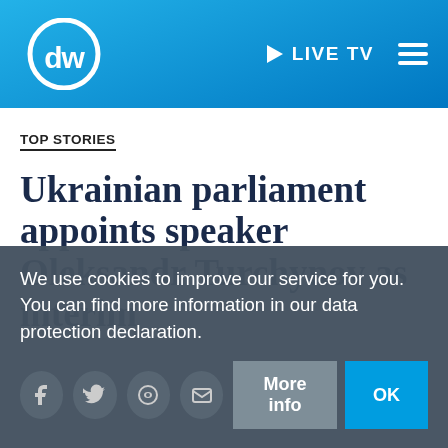DW — LIVE TV
TOP STORIES
Ukrainian parliament appoints speaker Oleksandr Turchynov as interim
We use cookies to improve our service for you. You can find more information in our data protection declaration.